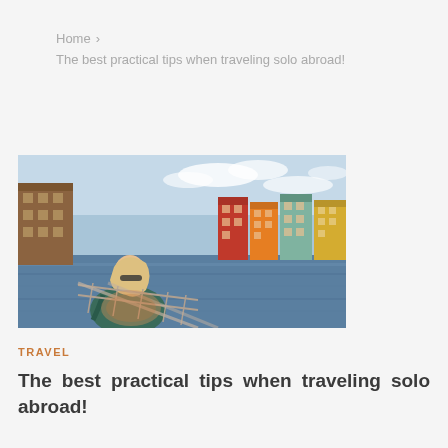Home > The best practical tips when traveling solo abroad!
[Figure (photo): A woman with sunglasses and a backpack standing on a waterfront bridge or dock, looking toward colorful Scandinavian-style buildings along a river channel under a partly cloudy sky.]
TRAVEL
The best practical tips when traveling solo abroad!